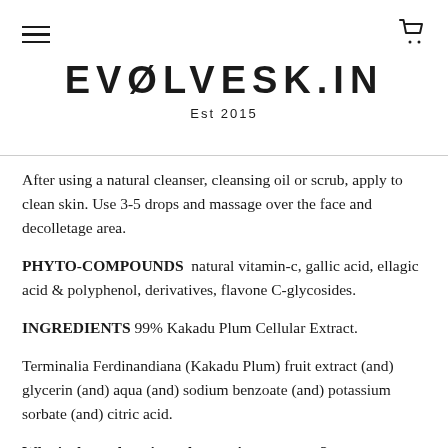EVØLVESKI.N  Est 2015
After using a natural cleanser, cleansing oil or scrub, apply to clean skin. Use 3-5 drops and massage over the face and decolletage area.
PHYTO-COMPOUNDS  natural vitamin-c, gallic acid, ellagic acid & polyphenol, derivatives, flavone C-glycosides.
INGREDIENTS 99% Kakadu Plum Cellular Extract.
Terminalia Ferdinandiana (Kakadu Plum) fruit extract (and) glycerin (and) aqua (and) sodium benzoate (and) potassium sorbate (and) citric acid.
Why is there glycerin and water in my serum?